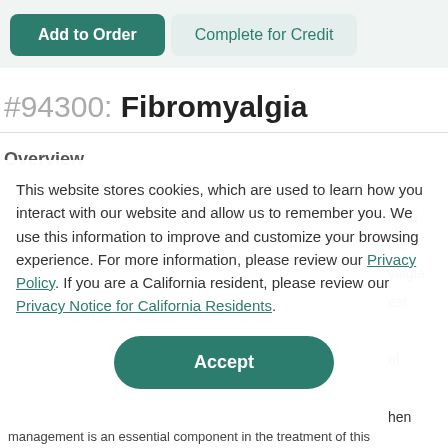[Figure (screenshot): Two buttons at top: 'Add to Order' (dark teal) and 'Complete for Credit' (light teal/gray)]
#94300: Fibromyalgia
Overview
This website stores cookies, which are used to learn how you interact with our website and allow us to remember you. We use this information to improve and customize your browsing experience. For more information, please review our Privacy Policy. If you are a California resident, please review our Privacy Notice for California Residents.
Accept
management is an essential component in the treatment of this chronic disease